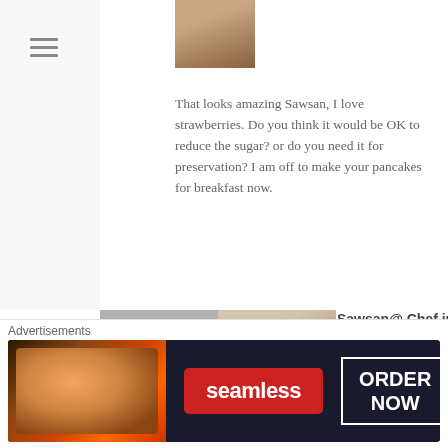[Figure (photo): User avatar photo of a woman at the top of the page]
That looks amazing Sawsan, I love strawberries. Do you think it would be OK to reduce the sugar? or do you need it for preservation? I am off to make your pancakes for breakfast now.
[Figure (photo): Avatar photo of Sawsan wearing a hijab, comment number 33]
Sawsan@ Chef in disguise on April 11, 2012 at 3:25 PM
Reply
Like
Hello Eva. I was actually thinking about trying a batch with reduced sugar but I do think you have to use them up faster. I'll make some over the weekend with reduced sugar
Advertisements